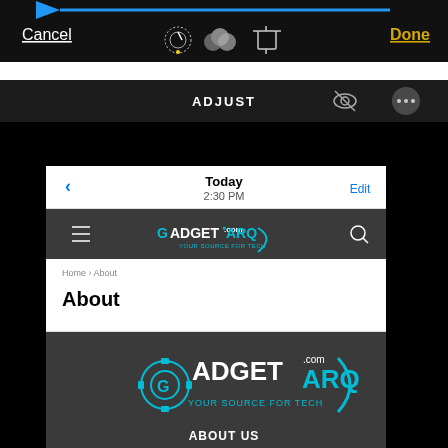[Figure (screenshot): Top portion of iOS photo editing interface showing Cancel and Done buttons, editing toolbar icons, and a blue directional arrow.]
[Figure (screenshot): Bottom portion showing an iOS screen with ADJUST toolbar, a mobile browser viewing the GadgetARQ.com About page, including the site logo (GADGETARQ.COM - YOUR SOURCE FOR TECH) and ABOUT US section.]